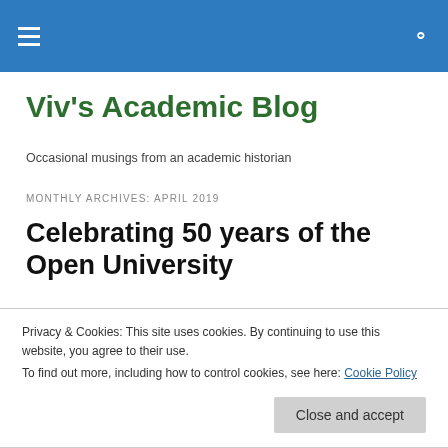Viv's Academic Blog [navigation header with hamburger menu and search icon]
Viv's Academic Blog
Occasional musings from an academic historian
MONTHLY ARCHIVES: APRIL 2019
Celebrating 50 years of the Open University
Privacy & Cookies: This site uses cookies. By continuing to use this website, you agree to their use.
To find out more, including how to control cookies, see here: Cookie Policy
thought I'd reflect a little on the extra chances the OU